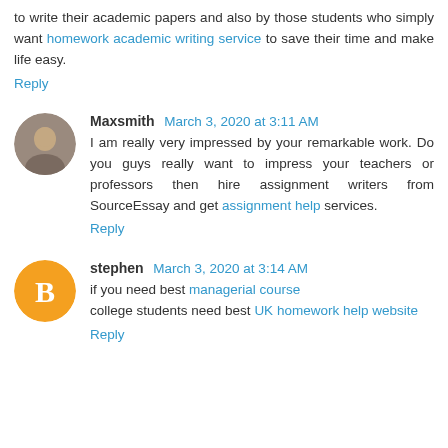to write their academic papers and also by those students who simply want homework academic writing service to save their time and make life easy.
Reply
Maxsmith  March 3, 2020 at 3:11 AM
I am really very impressed by your remarkable work. Do you guys really want to impress your teachers or professors then hire assignment writers from SourceEssay and get assignment help services.
Reply
stephen  March 3, 2020 at 3:14 AM
if you need best managerial course college students need best UK homework help website
Reply